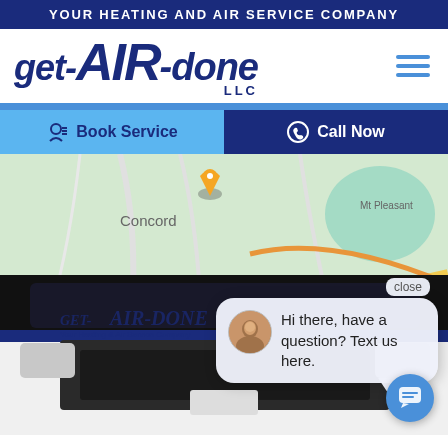YOUR HEATING AND AIR SERVICE COMPANY
GET-AIR-DONE LLC
[Figure (screenshot): Hamburger menu icon with three horizontal blue lines]
[Figure (screenshot): Book Service and Call Now action buttons row]
[Figure (photo): Main hero image showing a map of Concord area overlaid with a Get-Air-Done LLC branded service van, and a chat popup bubble saying Hi there, have a question? Text us here. with a close button and chat FAB button]